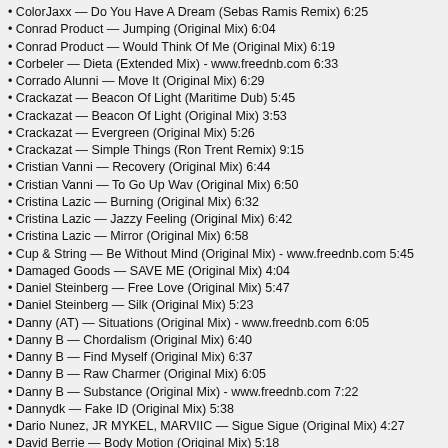ColorJaxx — Do You Have A Dream (Sebas Ramis Remix) 6:25
Conrad Product — Jumping (Original Mix) 6:04
Conrad Product — Would Think Of Me (Original Mix) 6:19
Corbeler — Dieta (Extended Mix) - www.freednb.com 6:33
Corrado Alunni — Move It (Original Mix) 6:29
Crackazat — Beacon Of Light (Maritime Dub) 5:45
Crackazat — Beacon Of Light (Original Mix) 3:53
Crackazat — Evergreen (Original Mix) 5:26
Crackazat — Simple Things (Ron Trent Remix) 9:15
Cristian Vanni — Recovery (Original Mix) 6:44
Cristian Vanni — To Go Up Wav (Original Mix) 6:50
Cristina Lazic — Burning (Original Mix) 6:32
Cristina Lazic — Jazzy Feeling (Original Mix) 6:42
Cristina Lazic — Mirror (Original Mix) 6:58
Cup & String — Be Without Mind (Original Mix) - www.freednb.com 5:45
Damaged Goods — SAVE ME (Original Mix) 4:04
Daniel Steinberg — Free Love (Original Mix) 5:47
Daniel Steinberg — Silk (Original Mix) 5:23
Danny (AT) — Situations (Original Mix) - www.freednb.com 6:05
Danny B — Chordalism (Original Mix) 6:40
Danny B — Find Myself (Original Mix) 6:37
Danny B — Raw Charmer (Original Mix) 6:05
Danny B — Substance (Original Mix) - www.freednb.com 7:22
Dannydk — Fake ID (Original Mix) 5:38
Dario Nunez, JR MYKEL, MARVIIC — Sigue Sigue (Original Mix) 4:27
David Berrie — Body Motion (Original Mix) 5:18
David Berrie — Mass Connection (Original Mix) 5:35
David Berrie — Warp 2000 (Original Mix) - www.freednb.com 6:56
Davide Toschi — Light Shadow (Original Mix) 6:13
Deborah Aime La Bagarre — Stock Option (Original Mix) 5:12
Deetech — Liquid (Cosimo Scimo Remix) 5:57
Deetech — Liquid (Original Mix) 7:37
Defunkt Hau5, Drax Nelson — Everything U Need (Original Mix) 6:50
Defunkt Hau5, Drax Nelson — Slang Back (Original Mix) 7:26
Delator — Essity (Original Mix) 7:35
Delator — Forward Thinking (Original Mix) 7:07
Delistic X Divine (NL) — The Only One (Original Mix) 5:42
Delux Twins — Desire (Original Mix) - www.freednb.com 5:54